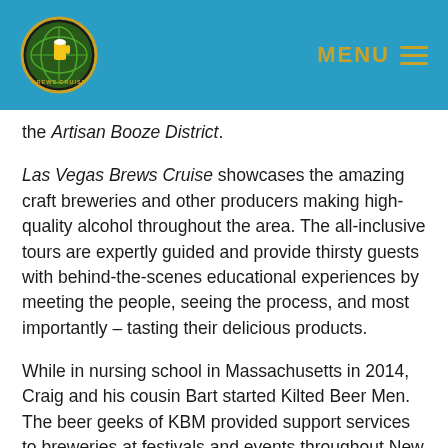MENU
the Artisan Booze District.
Las Vegas Brews Cruise showcases the amazing craft breweries and other producers making high-quality alcohol throughout the area. The all-inclusive tours are expertly guided and provide thirsty guests with behind-the-scenes educational experiences by meeting the people, seeing the process, and most importantly – tasting their delicious products.
While in nursing school in Massachusetts in 2014, Craig and his cousin Bart started Kilted Beer Men. The beer geeks of KBM provided support services to breweries at festivals and events throughout New England. They were essentially serving as “beer slingers for hire”. After taking a tour in Portland, he connected with the founder of The Maine Brew Bus.